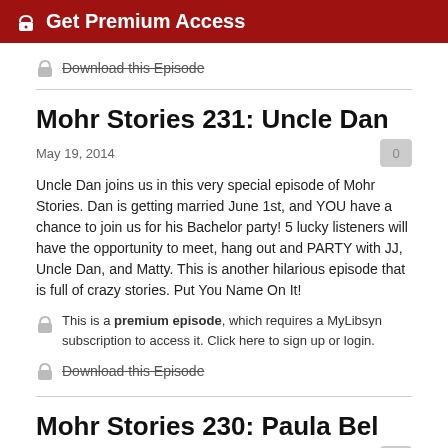🔑 Get Premium Access
Download this Episode
Mohr Stories 231: Uncle Dan
May 19, 2014
Uncle Dan joins us in this very special episode of Mohr Stories. Dan is getting married June 1st, and YOU have a chance to join us for his Bachelor party! 5 lucky listeners will have the opportunity to meet, hang out and PARTY with JJ, Uncle Dan, and Matty. This is another hilarious episode that is full of crazy stories. Put You Name On It!
This is a premium episode, which requires a MyLibsyn subscription to access it. Click here to sign up or login.
Download this Episode
Mohr Stories 230: Paula Bel
May 12, 2014
Paula Bel stops by Fake Mustache studios to talk about Jane Goodall and